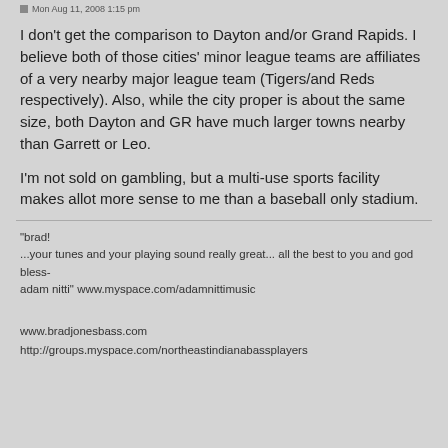Mon Aug 11, 2008 1:15 pm
I don't get the comparison to Dayton and/or Grand Rapids. I believe both of those cities' minor league teams are affiliates of a very nearby major league team (Tigers/and Reds respectively). Also, while the city proper is about the same size, both Dayton and GR have much larger towns nearby than Garrett or Leo.

I'm not sold on gambling, but a multi-use sports facility makes allot more sense to me than a baseball only stadium.
"brad!
...your tunes and your playing sound really great... all the best to you and god bless-
adam nitti" www.myspace.com/adamnittimusic
www.bradjonesbass.com
http://groups.myspace.com/northeastindianabassplayers